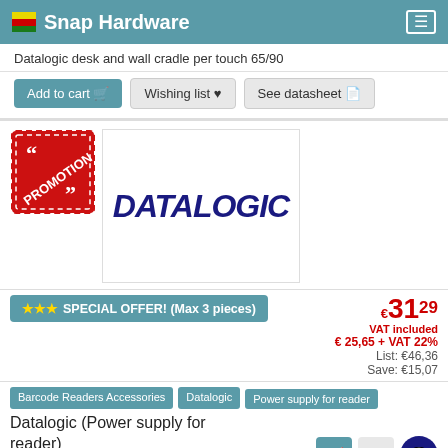Snap Hardware
Datalogic desk and wall cradle per touch 65/90
Add to cart | Wishing list | See datasheet
[Figure (logo): Promotion badge (red square with quote marks and PROMOTION text) and Datalogic product image with Datalogic logo]
SPECIAL OFFER! (Max 3 pieces)
€31.29 VAT included € 25,65 + VAT 22% List: €46,36 Save: €15,07
Barcode Readers Accessories | Datalogic | Power supply for reader
Datalogic (Power supply for reader) cod.90ACC0018